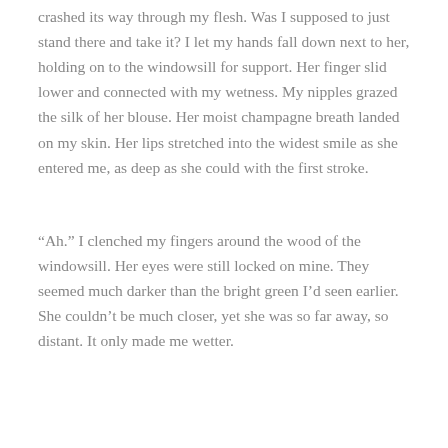crashed its way through my flesh. Was I supposed to just stand there and take it? I let my hands fall down next to her, holding on to the windowsill for support. Her finger slid lower and connected with my wetness. My nipples grazed the silk of her blouse. Her moist champagne breath landed on my skin. Her lips stretched into the widest smile as she entered me, as deep as she could with the first stroke.
“Ah.” I clenched my fingers around the wood of the windowsill. Her eyes were still locked on mine. They seemed much darker than the bright green I’d seen earlier. She couldn’t be much closer, yet she was so far away, so distant. It only made me wetter.